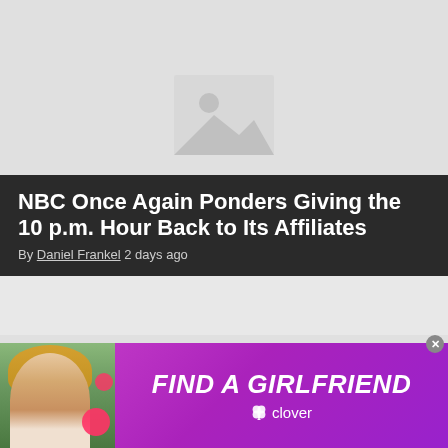[Figure (photo): Placeholder image with mountain/image icon on light gray background]
NBC Once Again Ponders Giving the 10 p.m. Hour Back to Its Affiliates
By Daniel Frankel 2 days ago
[Figure (photo): Second placeholder image area on light gray background]
[Figure (photo): Advertisement banner: FIND A GIRLFRIEND - clover app, with photo of blonde woman and pink hearts on purple gradient background]